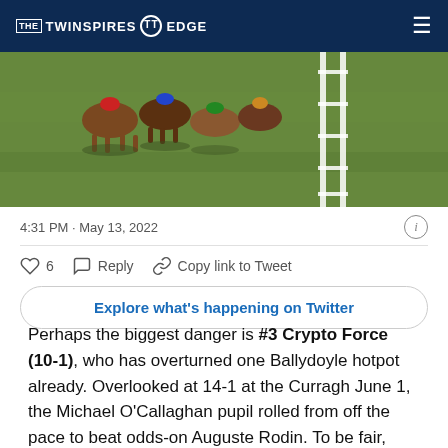THE TWINSPIRES EDGE
[Figure (photo): Aerial/overhead photo of horse racing on a grass track with a white rail fence, horses running from behind view]
4:31 PM · May 13, 2022
6   Reply   Copy link to Tweet
Explore what's happening on Twitter
Perhaps the biggest danger is #3 Crypto Force (10-1), who has overturned one Ballydoyle hotpot already. Overlooked at 14-1 at the Curragh June 1, the Michael O'Callaghan pupil rolled from off the pace to beat odds-on Auguste Rodin. To be fair, Auguste Rodin had meaningful trouble, but even with a clean trip he would have had a fight